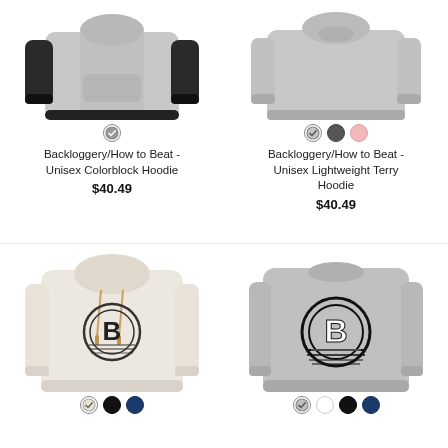[Figure (photo): Unisex Colorblock Hoodie in gray and black, shown cropped from chest up]
Backloggery/How to Beat - Unisex Colorblock Hoodie
$40.49
[Figure (photo): Unisex Lightweight Terry Hoodie in gray, shown cropped from chest up]
Backloggery/How to Beat - Unisex Lightweight Terry Hoodie
$40.49
[Figure (photo): Shawl collar hoodie in cream/off-white with Backloggery B logo]
[Figure (photo): Men's premium crewneck sweatshirt in gray with Backloggery B logo]